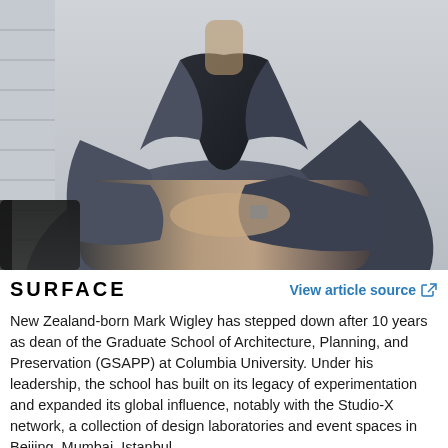[Figure (photo): Man in a grey suit with arms crossed, seated in a black chair, photographed from chest level. Face not visible as image is cropped at the chin level.]
SURFACE
View article source
New Zealand-born Mark Wigley has stepped down after 10 years as dean of the Graduate School of Architecture, Planning, and Preservation (GSAPP) at Columbia University. Under his leadership, the school has built on its legacy of experimentation and expanded its global influence, notably with the Studio-X network, a collection of design laboratories and event spaces in Beijing, Mumbai, Istanbul